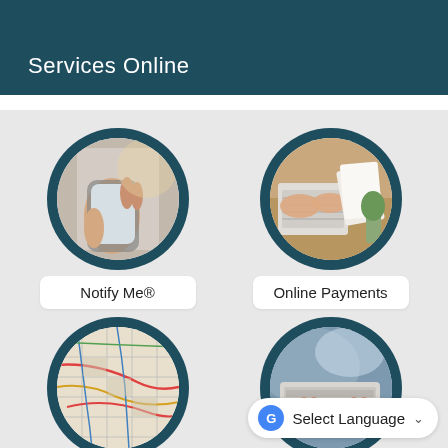Services Online
[Figure (photo): Person holding a smartphone]
Notify Me®
[Figure (photo): Hands at laptop keyboard with papers and plant]
Online Payments
[Figure (photo): Colorful transit or road map]
[Figure (photo): Hands typing on laptop keyboard]
Select Language